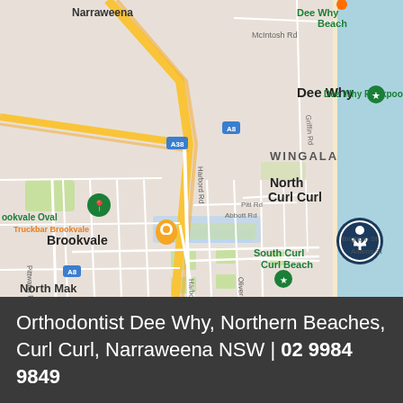[Figure (map): Google Maps screenshot showing Dee Why, Brookvale, Wingala, North Curl Curl, South Curl Curl Beach, and Narraweena areas in Northern Beaches, NSW, Australia. Features road network, beaches, and location markers.]
Orthodontist Dee Why, Northern Beaches, Curl Curl, Narraweena NSW | 02 9984 9849